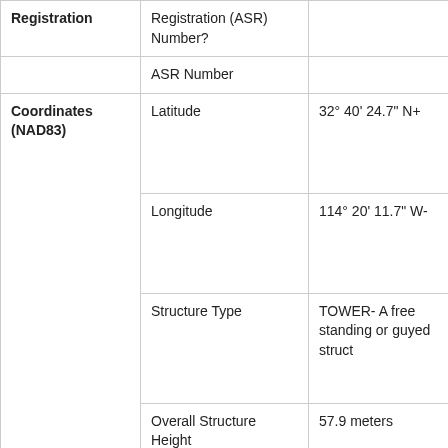| Registration | Registration (ASR) Number? |  |
| --- | --- | --- |
|  | ASR Number |  |
| Coordinates (NAD83) | Latitude | 32° 40' 24.7" N+ |
|  | Longitude | 114° 20' 11.7" W- |
|  | Structure Type | TOWER- A free standing or guyed struct |
|  | Overall Structure Height | 57.9 meters |
|  | Support Structure Height | 57.9 meters |